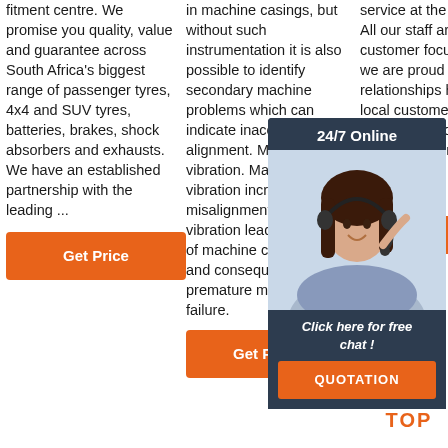fitment centre. We promise you quality, value and guarantee across South Africa's biggest range of passenger tyres, 4x4 and SUV tyres, batteries, brakes, shock absorbers and exhausts. We have an established partnership with the leading ...
in machine casings, but without such instrumentation it is also possible to identify secondary machine problems which can indicate inaccurate shaft alignment. Machine vibration. Machine vibration increases with misalignment. High vibration leads . to fatigue of machine components and consequently to premature machine failure.
service at the right price. All our staff are customer focused and we are proud of the relation... have b... local c... We are... to prov... honest... reliable... using t... techno...
[Figure (photo): Customer service representative with headset, chat overlay widget with '24/7 Online' header, photo of woman with headset, 'Click here for free chat!' text, and QUOTATION orange button]
Get Price
Get ...
[Figure (other): TOP icon with orange dots arranged in triangle and orange bold text 'TOP']